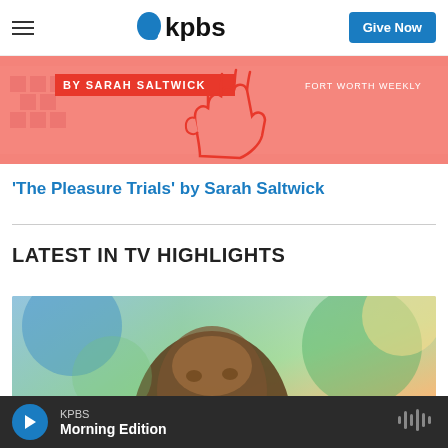KPBS — Give Now
[Figure (illustration): Book cover illustration for 'The Pleasure Trials' by Sarah Saltwick showing a hand with red line art on a salmon/pink background. Text reads 'BY SARAH SALTWICK' and 'FORT WORTH WEEKLY'.]
'The Pleasure Trials' by Sarah Saltwick
LATEST IN TV HIGHLIGHTS
[Figure (photo): A person looking upward, with a blurred colorful background of blues and yellows.]
KPBS Morning Edition